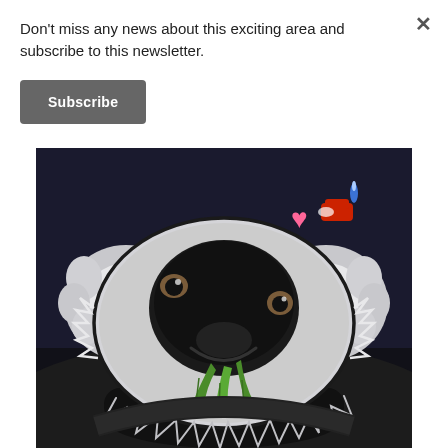Don't miss any news about this exciting area and subscribe to this newsletter.
Subscribe
[Figure (illustration): Cartoon illustration of a cute koala bear peering over a car's steering wheel, holding a green eucalyptus leaf in its mouth. The koala has large fluffy grey ears, big dark eyes, and a wide black nose. In the background is a dark highway scene with a red car in the distance and a pink heart symbol visible. The art style is colorful digital illustration.]